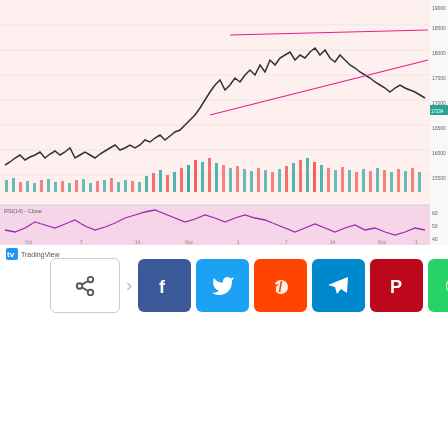[Figure (continuous-plot): TradingView financial chart showing price candlestick/line chart in upper panel with triangular pattern (wedge) drawn in pink/red lines near the top, volume bars at bottom of price panel in red/teal colors, and RSI indicator in lower panel with purple line on pink background. Chart shows a strong uptrend followed by a consolidation pattern. X-axis shows dates, Y-axis shows price levels. TradingView watermark logo at bottom left.]
[Figure (infographic): Social sharing buttons row: native share button (grey border, share icon), followed by Facebook (dark blue), Twitter (light blue), Reddit (orange-red), Telegram (blue), Pinterest (dark red), WhatsApp (green) buttons with white icons.]